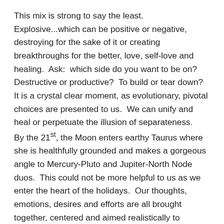This mix is strong to say the least.  Explosive...which can be positive or negative, destroying for the sake of it or creating breakthroughs for the better, love, self-love and healing.  Ask:  which side do you want to be on?  Destructive or productive?  To build or tear down?  It is a crystal clear moment, as evolutionary, pivotal choices are presented to us.  We can unify and heal or perpetuate the illusion of separateness.
By the 21st, the Moon enters earthy Taurus where she is healthfully grounded and makes a gorgeous angle to Mercury-Pluto and Jupiter-North Node duos.  This could not be more helpful to us as we enter the heart of the holidays.  Our thoughts, emotions, desires and efforts are all brought together, centered and aimed realistically to achieve our highest purpose and fullest potential.  It is really, truly lovely energy.  Heightening this is the Sun's entrance into pragmatic Capricorn at an attention-getting degree.
It is the perfect lead-in, almost too storybook in its effect